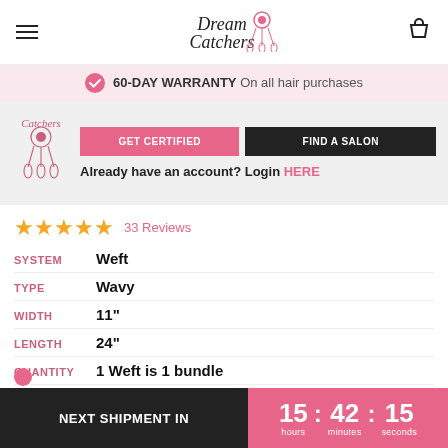Dream Catchers
60-DAY WARRANTY On all hair purchases
GET CERTIFIED   FIND A SALON   Already have an account? Login HERE
33 Reviews
SYSTEM Weft
TYPE Wavy
WIDTH 11"
LENGTH 24"
QUANTITY 1 Weft is 1 bundle
WEIGHT 35 grams
NEXT SHIPMENT IN 15 : 42 : 15 hours minutes seconds